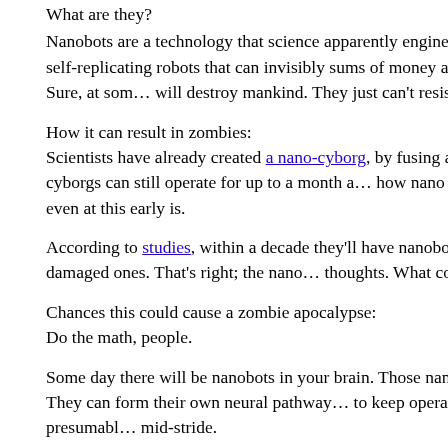What are they?
Nanobots are a technology that science apparently engineered to make us all paranoid. We're talking about microscopic, self-replicating robots that can invisibly swarm through our bodies. Vast sums of money are being poured into nanotechnology. Sure, at some point scientists realized this will destroy mankind. They just can't resist seeing how it happens.
How it can result in zombies:
Scientists have already created a nano-cyborg, by fusing a tiny silicon chip to a virus. What they found out is these cyborgs can still operate for up to a month after the host dies. Showing how nano scientists went right for zombification, even at this early stage, the program's goal is.
According to studies, within a decade they'll have nanobots that can form new neural connections to replace damaged ones. That's right; the nanobots will be able to control your thoughts. What could possibly go wrong?
Chances this could cause a zombie apocalypse:
Do the math, people.
Some day there will be nanobots in your brain. Those nanobots will keep right on functioning after you die. They can form their own neural pathways, meaning they'll be able to keep operating your limbs after you've deceased and, presumably, catch you mid-stride.
The nanobots will be programmed to self-replicate, and the death of the host won't stop the nanobots. To preserve themselves, they'd need to transfer to a new host. The easiest way for a nanobot zombie would be to bite a hole in a healthy victim, letting